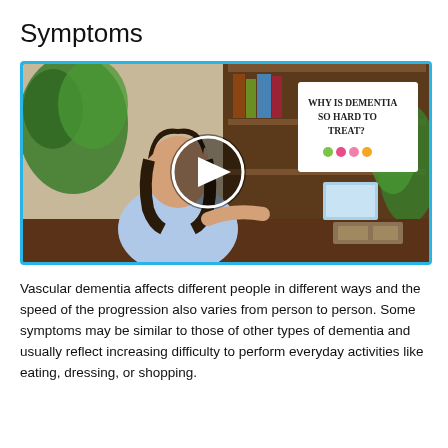Symptoms
[Figure (photo): Video thumbnail showing a woman sitting at a desk in an office/study setting with bookshelves and plants in the background. A play button is overlaid in the center. A slide in the upper right reads 'WHY IS DEMENTIA SO HARD TO TREAT?' with colored dots below it.]
Vascular dementia affects different people in different ways and the speed of the progression also varies from person to person. Some symptoms may be similar to those of other types of dementia and usually reflect increasing difficulty to perform everyday activities like eating, dressing, or shopping.